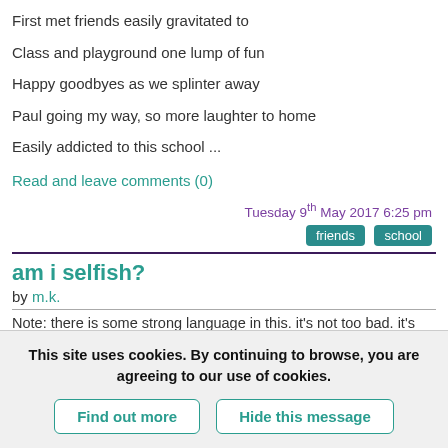First met friends easily gravitated to
Class and playground one lump of fun
Happy goodbyes as we splinter away
Paul going my way, so more laughter to home
Easily addicted to this school ...
Read and leave comments (0)
Tuesday 9th May 2017 6:25 pm
friends   school
am i selfish?
by m.k.
Note: there is some strong language in this. it's not too bad. it's
This site uses cookies. By continuing to browse, you are agreeing to our use of cookies.